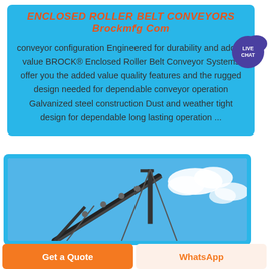ENCLOSED ROLLER BELT CONVEYORS Brockmfg Com
conveyor configuration Engineered for durability and added value BROCK® Enclosed Roller Belt Conveyor Systems offer you the added value quality features and the rugged design needed for dependable conveyor operation Galvanized steel construction Dust and weather tight design for dependable long lasting operation ...
[Figure (photo): Photo of an enclosed roller belt conveyor structure against a blue sky with clouds]
Get a Quote
WhatsApp